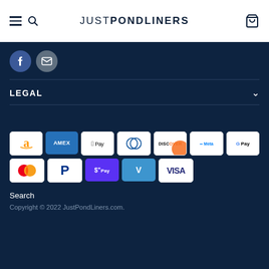JUST PONDLINERS
[Figure (logo): Social icons: Facebook circle and email/envelope circle]
LEGAL
[Figure (infographic): Payment method icons: Amazon, Amex, Apple Pay, Diners Club, Discover, Meta Pay, Google Pay, Mastercard, PayPal, Shop Pay, Venmo, Visa]
Search
Copyright © 2022 JustPondLiners.com.